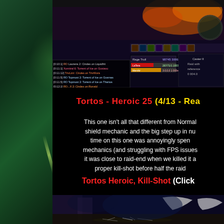[Figure (screenshot): World of Warcraft game screenshot showing UI with health bars, combat log entries about Tortos heroic encounter]
Tortos - Heroic 25 (4/13 - Rea
This one isn't all that different from Normal ... shield mechanic and the big step up in nu... time on this one was annoyingly spen... mechanics (and struggling with FPS issues... it was close to raid-end when we killed it a... proper kill-shot before half the raid...
Tortos Heroic, Kill-Shot (Click
[Figure (screenshot): World of Warcraft kill-shot screenshot showing Tortos boss defeated, with skeletal remains on dungeon floor]